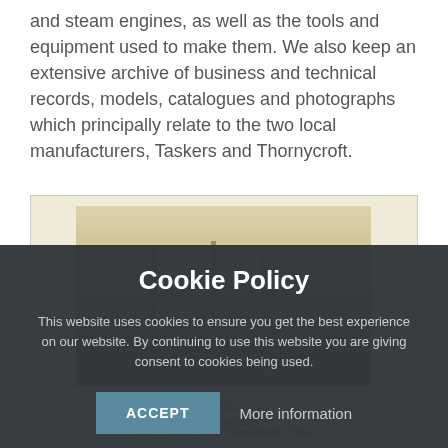and steam engines, as well as the tools and equipment used to make them. We also keep an extensive archive of business and technical records, models, catalogues and photographs which principally relate to the two local manufacturers, Taskers and Thornycroft.
[Figure (photo): Sepia photograph partially visible, showing what appears to be a steam engine or machinery at an outdoor event. Caption reads 'Alton, Boer War Carnival, 1901']
Alton, Boer War Carnival, 1901.
Cookie Policy

This website uses cookies to ensure you get the best experience on our website. By continuing to use this website you are giving consent to cookies being used.